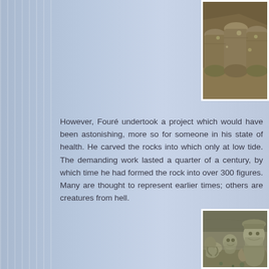[Figure (photo): Close-up photo of carved rock formations/stones, showing cylindrical and rounded stone shapes with lichen, partially visible at top right of page]
However, Fouré undertook a project which would have been astonishing, more so for someone in his state of health. He carved the rocks into which only at low tide. The demanding work lasted a quarter of a century, by which time he had formed the rock into over 300 figures. Many are thought to represent earlier times; others are creatures from hell.
[Figure (photo): Photo of elaborate rock carvings showing multiple human and creature figures carved into stone, with a bearded figure prominent on the right side]